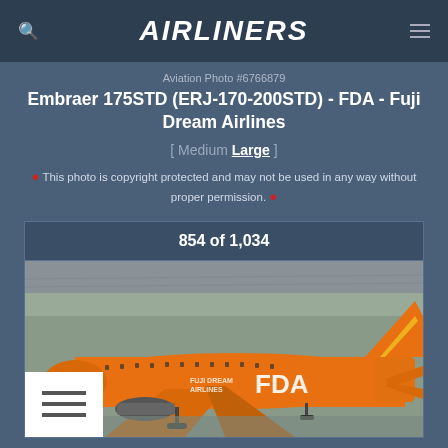AIRLINERS
Aviation Photo #6766879
Embraer 175STD (ERJ-170-200STD) - FDA - Fuji Dream Airlines
[ Medium  Large ]
This photo is copyright protected and may not be used in any way without proper permission.
854 of 1,034
[Figure (photo): Fuji Dream Airlines (FDA) Embraer 175STD aircraft in orange livery on airport tarmac, showing fuselage with FDA and Fuji Dream Airlines text markings]